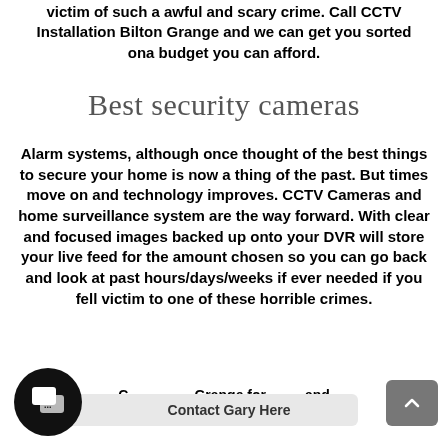victim of such a awful and scary crime. Call CCTV Installation Bilton Grange and we can get you sorted ona budget you can afford.
Best security cameras
Alarm systems, although once thought of the best things to secure your home is now a thing of the past. But times move on and technology improves. CCTV Cameras and home surveillance system are the way forward. With clear and focused images backed up onto your DVR will store your live feed for the amount chosen so you can go back and look at past hours/days/weeks if ever needed if you fell victim to one of these horrible crimes.
Contact Gary Here Bilton Grange for expert and friendly advise today.